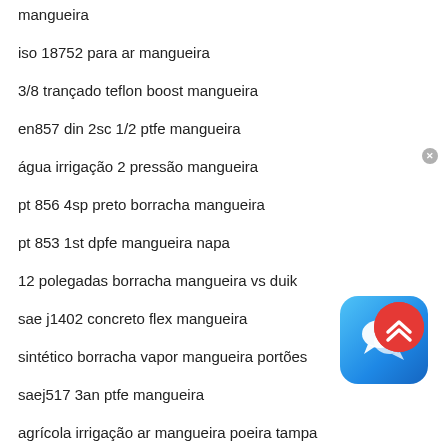mangueira
iso 18752 para ar mangueira
3/8 trançado teflon boost mangueira
en857 din 2sc 1/2 ptfe mangueira
água irrigação 2 pressão mangueira
pt 856 4sp preto borracha mangueira
pt 853 1st dpfe mangueira napa
12 polegadas borracha mangueira vs duik
sae j1402 concreto flex mangueira
sintético borracha vapor mangueira portões
saej517 3an ptfe mangueira
agrícola irrigação ar mangueira poeira tampa
[Figure (screenshot): Blue chat/messaging app icon widget with white speech bubble icons, with a grey X close button in the top-right corner]
[Figure (illustration): Red circular scroll-to-top button with double upward chevron arrows in white]